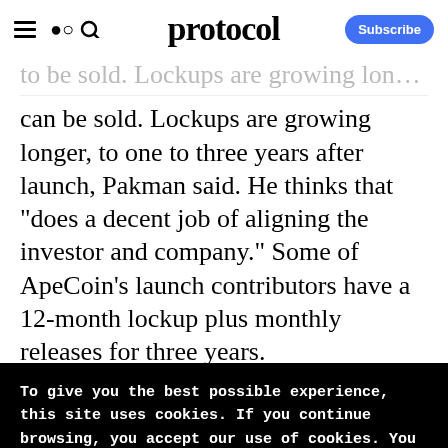protocol — Subscribe
to be sold. Lockups are growing longer, to one to three years after launch, Pakman said. He thinks that “does a decent job of aligning the investor and company.” Some of ApeCoin’s launch contributors have a 12-month lockup plus monthly releases for three years.
To give you the best possible experience, this site uses cookies. If you continue browsing, you accept our use of cookies. You can review our privacy policy to find out more about the cookies we use.
Accept